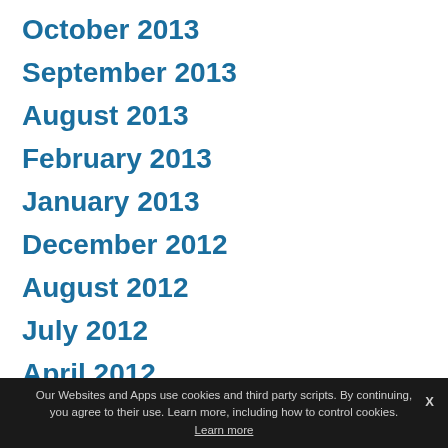October 2013
September 2013
August 2013
February 2013
January 2013
December 2012
August 2012
July 2012
April 2012
Our Websites and Apps use cookies and third party scripts. By continuing, you agree to their use. Learn more, including how to control cookies. Learn more